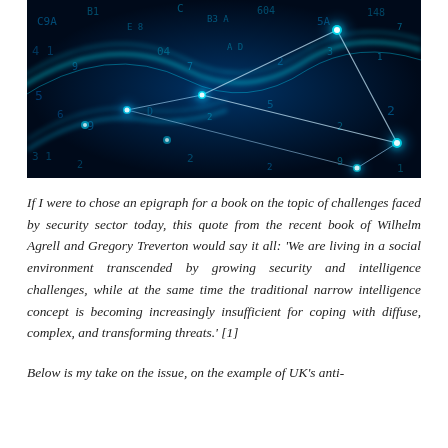[Figure (illustration): Digital network visualization with glowing blue nodes connected by lines/triangles, overlaid on dark background with floating numbers and letters, representing cybersecurity or data connectivity concept.]
If I were to chose an epigraph for a book on the topic of challenges faced by security sector today, this quote from the recent book of Wilhelm Agrell and Gregory Treverton would say it all: 'We are living in a social environment transcended by growing security and intelligence challenges, while at the same time the traditional narrow intelligence concept is becoming increasingly insufficient for coping with diffuse, complex, and transforming threats.' [1]
Below is my take on the issue, on the example of UK's anti-